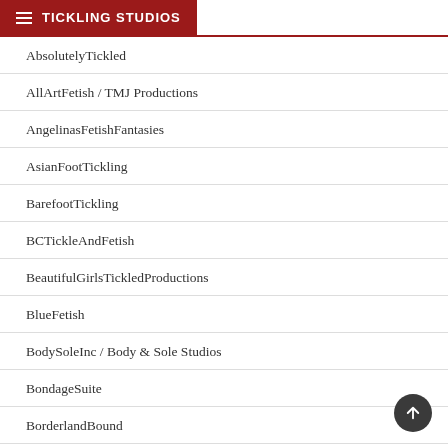TICKLING STUDIOS
AbsolutelyTickled
AllArtFetish / TMJ Productions
AngelinasFetishFantasies
AsianFootTickling
BarefootTickling
BCTickleAndFetish
BeautifulGirlsTickledProductions
BlueFetish
BodySoleInc / Body & Sole Studios
BondageSuite
BorderlandBound